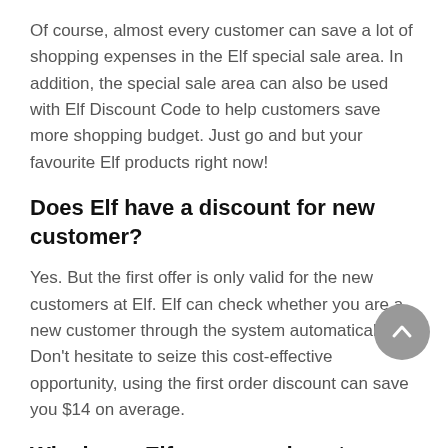Of course, almost every customer can save a lot of shopping expenses in the Elf special sale area. In addition, the special sale area can also be used with Elf Discount Code to help customers save more shopping budget. Just go and but your favourite Elf products right now!
Does Elf have a discount for new customer?
Yes. But the first offer is only valid for the new customers at Elf. Elf can check whether you are a new customer through the system automatically. Don't hesitate to seize this cost-effective opportunity, using the first order discount can save you $14 on average.
Why is my Elf promo code not working?
A single promotional code can only be used once in Elf. If Elf Coupon Code cannot be used, please check